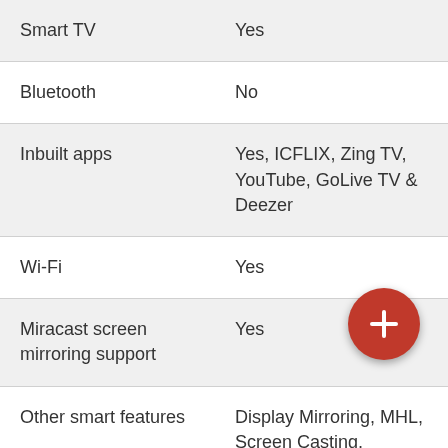| Feature | Value |
| --- | --- |
| Smart TV | Yes |
| Bluetooth | No |
| Inbuilt apps | Yes, ICFLIX, Zing TV, YouTube, GoLive TV & Deezer |
| Wi-Fi | Yes |
| Miracast screen mirroring support | Yes |
| Other smart features | Display Mirroring, MHL, Screen Casting, SmartShare, SmartView, Swipe & Share, WiFi Dire... Future Ready |
| Voltage | 110 - 230 |